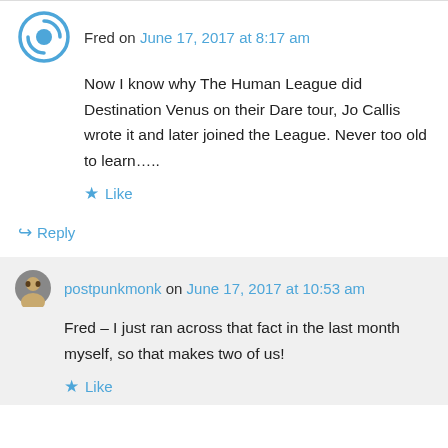Fred on June 17, 2017 at 8:17 am
Now I know why The Human League did Destination Venus on their Dare tour, Jo Callis wrote it and later joined the League. Never too old to learn…..
Like
Reply
postpunkmonk on June 17, 2017 at 10:53 am
Fred – I just ran across that fact in the last month myself, so that makes two of us!
Like